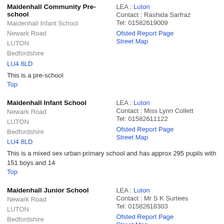Maidenhall Community Pre-school
Maidenhall Infant School
Newark Road
LUTON
Bedfordshire
LU4 8LD
LEA : Luton
Contact : Rashida Sarfraz
Tel: 01582619009
Ofsted Report Page
Street Map
This is a pre-school
Top
Maidenhall Infant School
Newark Road
LUTON
Bedfordshire
LU4 8LD
LEA : Luton
Contact : Miss Lynn Collett
Tel: 01582611122
Ofsted Report Page
Street Map
This is a mixed sex urban primary school and has approx 295 pupils with 151 boys and 14
Top
Maidenhall Junior School
Newark Road
LUTON
Bedfordshire
LU4 8LD
LEA : Luton
Contact : Mr S K Surtees
Tel: 01582618303
Ofsted Report Page
Street Map